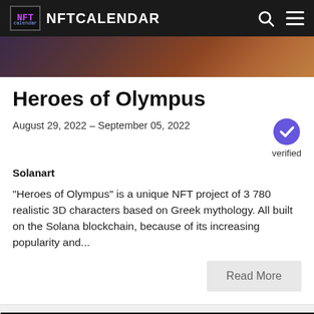NFTCALENDAR
[Figure (photo): Partial hero image showing Greek mythology characters for Heroes of Olympus NFT project]
Heroes of Olympus
August 29, 2022 – September 05, 2022
verified
Solanart
“Heroes of Olympus” is a unique NFT project of 3 780 realistic 3D characters based on Greek mythology. All built on the Solana blockchain, because of its increasing popularity and...
Read More
[Figure (photo): Bottom card preview image, dark/black background]